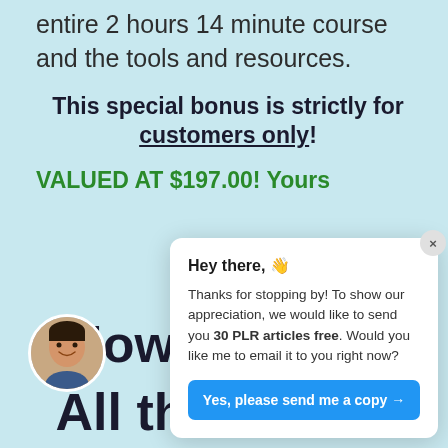entire 2 hours 14 minute course and the tools and resources.
This special bonus is strictly for customers only!
VALUED AT $197.00! Yours
Hey there, 👋
Thanks for stopping by! To show our appreciation, we would like to send you 30 PLR articles free. Would you like me to email it to you right now?
Yes, please send me a copy →
How Much Is All This Worth